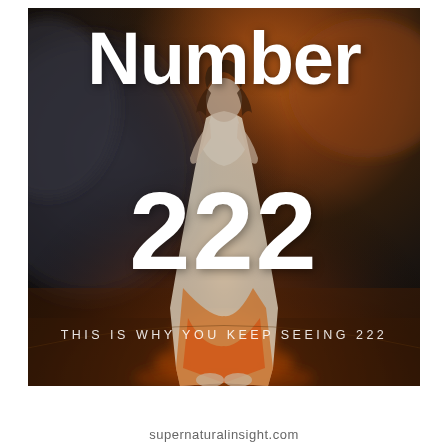[Figure (illustration): A woman in a white flowing dress standing in a dramatic fiery landscape with dark smoky skies and orange flames, with large white bold text overlaid reading 'Number 222' and subtitle 'THIS IS WHY YOU KEEP SEEING 222']
Number
222
THIS IS WHY YOU KEEP SEEING 222
supernaturalinsight.com